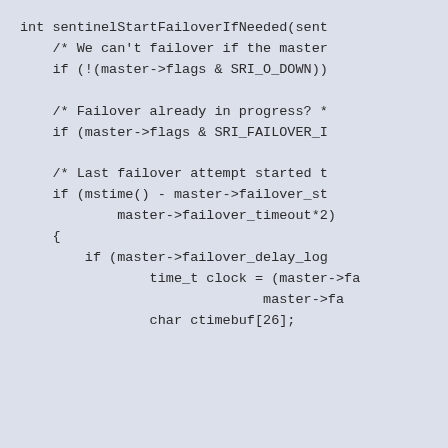[Figure (screenshot): Code snippet showing the beginning of the sentinelStartFailoverIfNeeded function in C, with comments about failover conditions and variable declarations including failover_delay_log, time_t clock, and char ctimebuf[26].]